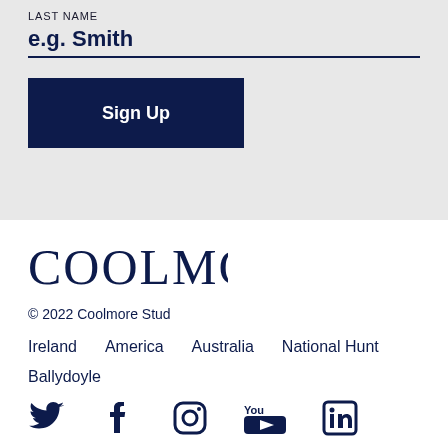LAST NAME
e.g. Smith
Sign Up
[Figure (logo): Coolmore logo in dark navy serif font]
© 2022 Coolmore Stud
Ireland   America   Australia   National Hunt
Ballydoyle
[Figure (illustration): Social media icons: Twitter, Facebook, Instagram, YouTube, LinkedIn in dark navy]